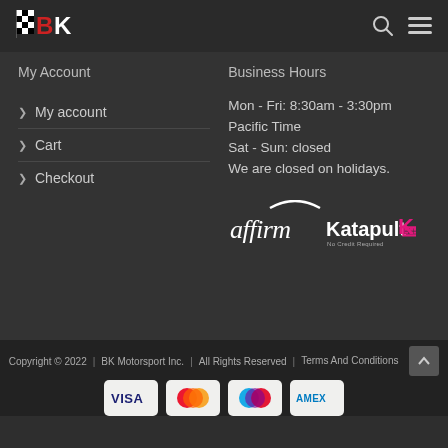[Figure (logo): BK Motorsport logo with checkered flag and red BK text]
My Account
Business Hours
My account
Mon - Fri: 8:30am - 3:30pm Pacific Time
Cart
Sat - Sun: closed
Checkout
We are closed on holidays.
[Figure (logo): Affirm and Katapult payment logos]
Copyright © 2022  |  BK Motorsport Inc.  |  All Rights Reserved  |  Terms And Conditions
[Figure (logo): Payment method logos: VISA, MasterCard, Maestro, AMEX]